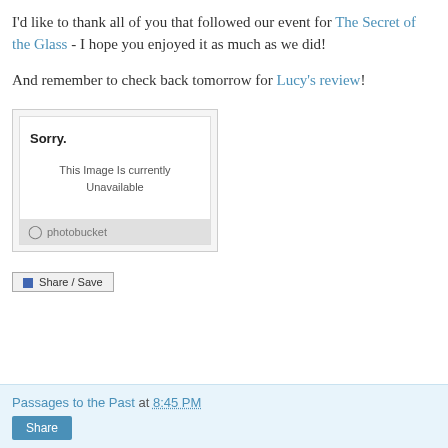I'd like to thank all of you that followed our event for The Secret of the Glass - I hope you enjoyed it as much as we did!
And remember to check back tomorrow for Lucy's review!
[Figure (screenshot): A Photobucket placeholder image showing 'Sorry. This Image Is Currently Unavailable' with the Photobucket logo bar at the bottom.]
Share / Save
Passages to the Past at 8:45 PM
Share